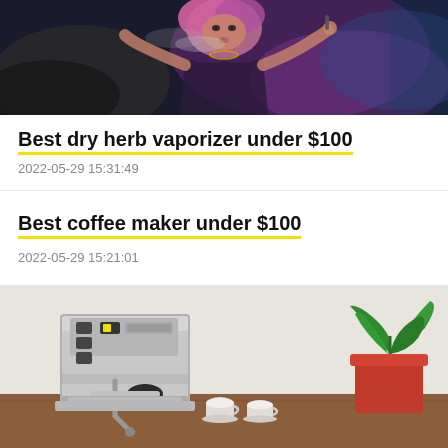[Figure (photo): A person with pink/purple hair vaping, surrounded by smoke, concert-like lighting, dark and colorful background.]
Best dry herb vaporizer under $100
2022-05-29 15:31:49
Best coffee maker under $100
2022-05-29 15:21:01
[Figure (photo): A stainless steel espresso machine on a wooden counter next to a green plant in a red pot and small white espresso cups.]